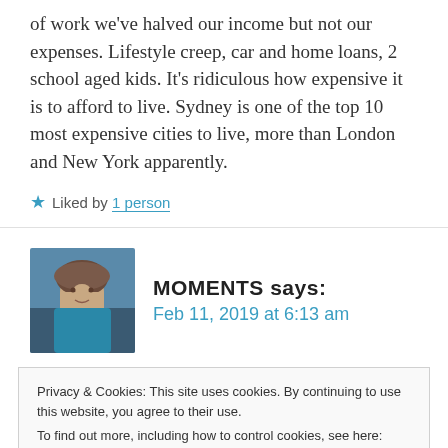of work we've halved our income but not our expenses. Lifestyle creep, car and home loans, 2 school aged kids. It's ridiculous how expensive it is to afford to live. Sydney is one of the top 10 most expensive cities to live, more than London and New York apparently.
★ Liked by 1 person
MOMENTS says: Feb 11, 2019 at 6:13 am
Privacy & Cookies: This site uses cookies. By continuing to use this website, you agree to their use. To find out more, including how to control cookies, see here: Cookie Policy
Close and accept
Barcelona has become too expensive and some